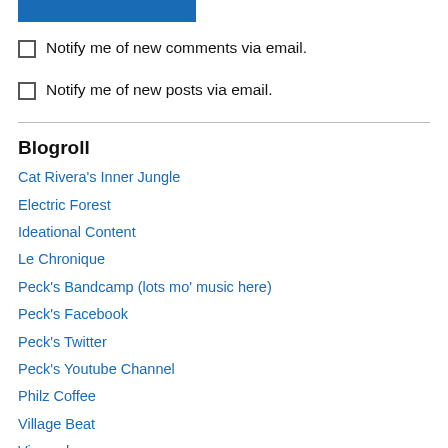[Figure (other): Blue rectangular button/bar at top of page]
Notify me of new comments via email.
Notify me of new posts via email.
Blogroll
Cat Rivera's Inner Jungle
Electric Forest
Ideational Content
Le Chronique
Peck's Bandcamp (lots mo' music here)
Peck's Facebook
Peck's Twitter
Peck's Youtube Channel
Philz Coffee
Village Beat
Viracocha